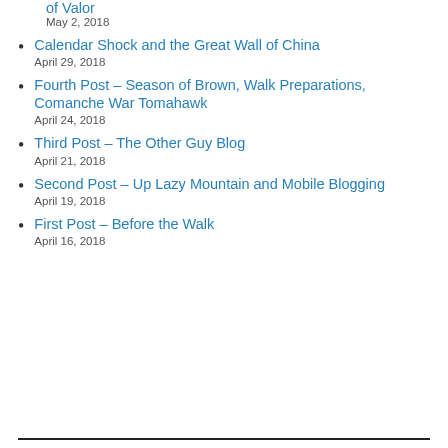of Valor
May 2, 2018
Calendar Shock and the Great Wall of China
April 29, 2018
Fourth Post – Season of Brown, Walk Preparations, Comanche War Tomahawk
April 24, 2018
Third Post – The Other Guy Blog
April 21, 2018
Second Post – Up Lazy Mountain and Mobile Blogging
April 19, 2018
First Post – Before the Walk
April 16, 2018